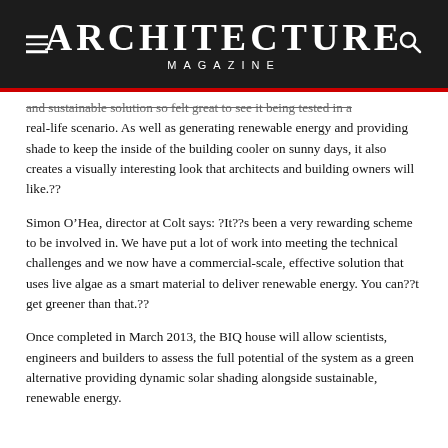ARCHITECTURE MAGAZINE
and sustainable solution so felt great to see it being tested in a real-life scenario. As well as generating renewable energy and providing shade to keep the inside of the building cooler on sunny days, it also creates a visually interesting look that architects and building owners will like.??
Simon O’Hea, director at Colt says: ?It??s been a very rewarding scheme to be involved in. We have put a lot of work into meeting the technical challenges and we now have a commercial-scale, effective solution that uses live algae as a smart material to deliver renewable energy. You can??t get greener than that.??
Once completed in March 2013, the BIQ house will allow scientists, engineers and builders to assess the full potential of the system as a green alternative providing dynamic solar shading alongside sustainable, renewable energy.